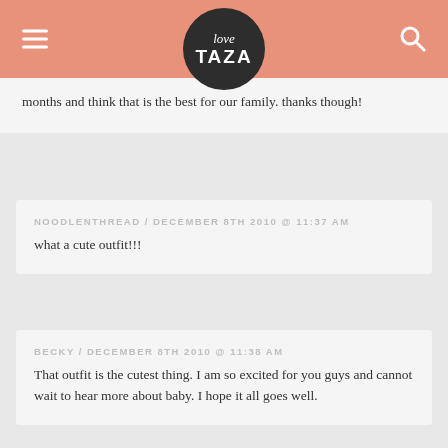love TAZA
months and think that is the best for our family. thanks though!
NOODLENTHREAD / DECEMBER 8TH 2010 @ 11:37 AM
what a cute outfit!!!
BECKY / DECEMBER 8TH 2010 @ 11:38 AM
That outfit is the cutest thing. I am so excited for you guys and cannot wait to hear more about baby. I hope it all goes well.
HEATHERSDISH.COM / DECEMBER 8TH 2010 @ 11:39 AM
hang in there girl, laying low is probably just the thing you need to